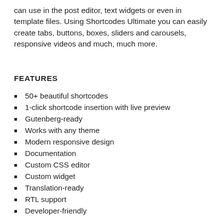can use in the post editor, text widgets or even in template files. Using Shortcodes Ultimate you can easily create tabs, buttons, boxes, sliders and carousels, responsive videos and much, much more.
FEATURES
50+ beautiful shortcodes
1-click shortcode insertion with live preview
Gutenberg-ready
Works with any theme
Modern responsive design
Documentation
Custom CSS editor
Custom widget
Translation-ready
RTL support
Developer-friendly